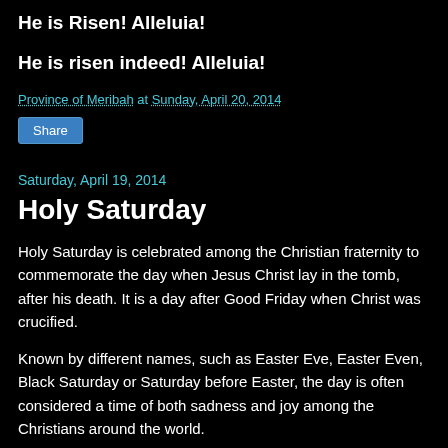He is Risen! Alleluia!
He is risen indeed! Alleluia!
Province of Meribah at Sunday, April 20, 2014
Share
Saturday, April 19, 2014
Holy Saturday
Holy Saturday is celebrated among the Christian fraternity to commemorate the day when Jesus Christ lay in the tomb, after his death. It is a day after Good Friday when Christ was crucified.
Known by different names, such as Easter Eve, Easter Even, Black Saturday or Saturday before Easter, the day is often considered a time of both sadness and joy among the Christians around the world.